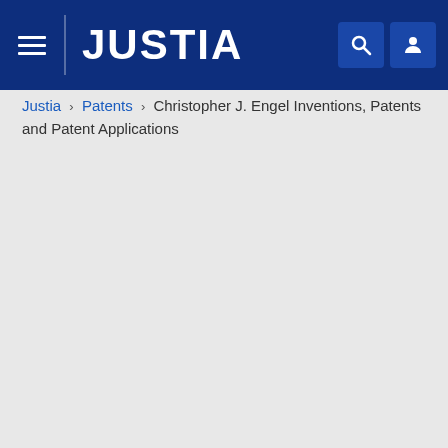JUSTIA
Justia › Patents › Christopher J. Engel Inventions, Patents and Patent Applications